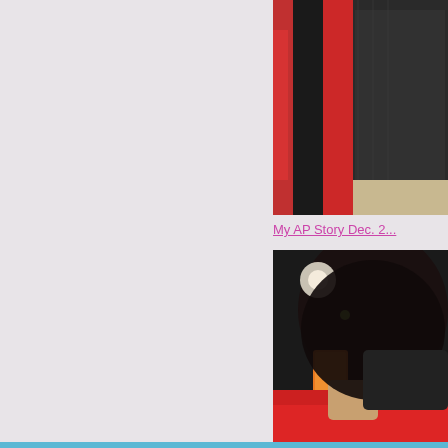[Figure (photo): Partial view of a person sitting in a red and black chair, wearing dark clothing, cropped at the right edge of the page]
My AP Story Dec. 2...
[Figure (photo): Close-up blurred photo showing a person with dark hair and a red garment, with orange element visible, cropped at right edge]